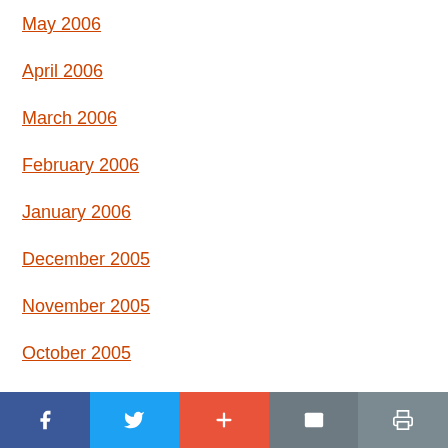May 2006
April 2006
March 2006
February 2006
January 2006
December 2005
November 2005
October 2005
September 2005
Social share bar: Facebook, Twitter, Add, Email, Print